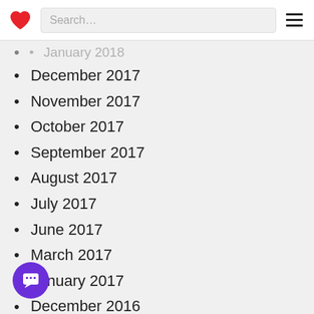Search…
January 2018 (partial, cut off at top)
December 2017
November 2017
October 2017
September 2017
August 2017
July 2017
June 2017
March 2017
January 2017
December 2016
September 2015
August 2015
February 2015
July 2014
December 2013 (partially visible)